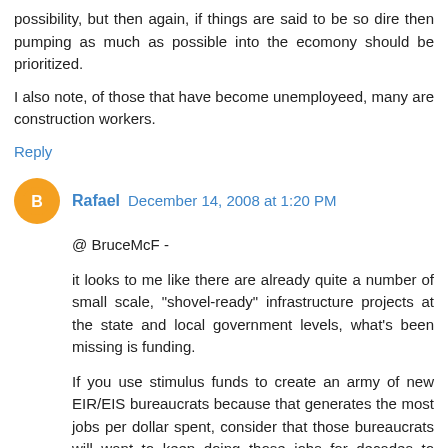possibility, but then again, if things are said to be so dire then pumping as much as possible into the ecomony should be prioritized.
I also note, of those that have become unemployeed, many are construction workers.
Reply
Rafael  December 14, 2008 at 1:20 PM
@ BruceMcF -
it looks to me like there are already quite a number of small scale, "shovel-ready" infrastructure projects at the state and local government levels, what's been missing is funding.
If you use stimulus funds to create an army of new EIR/EIS bureaucrats because that generates the most jobs per dollar spent, consider that those bureaucrats will want to keep doing those jobs for decades to come.
That approaches are organization position California